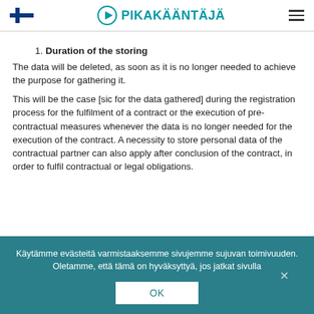PIKAKÄÄNTÄJÄ
1. Duration of the storing
The data will be deleted, as soon as it is no longer needed to achieve the purpose for gathering it.
This will be the case [sic for the data gathered] during the registration process for the fulfilment of a contract or the execution of pre-contractual measures whenever the data is no longer needed for the execution of the contract. A necessity to store personal data of the contractual partner can also apply after conclusion of the contract, in order to fulfil contractual or legal obligations.
Käytämme evästeitä varmistaaksemme sivujemme sujuvan toimivuuden. Oletamme, että tämä on hyväksyttyä, jos jatkat sivulla
OK